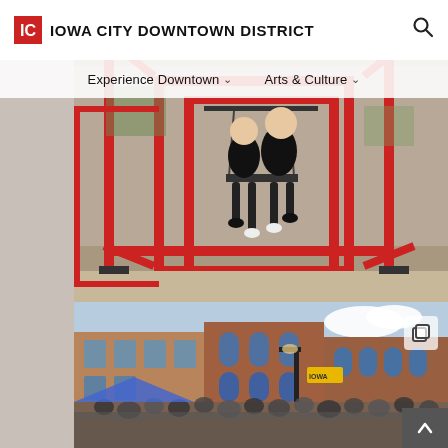IOWA CITY DOWNTOWN DISTRICT
[Figure (screenshot): Website screenshot of Iowa City Downtown District with navigation menu showing Experience Downtown and Arts & Culture dropdowns]
[Figure (photo): Two people sitting on red metal swing art installation in an outdoor plaza with brick buildings in the background]
[Figure (photo): Outdoor street festival crowd in downtown Iowa City with brick buildings and vendor tents visible]